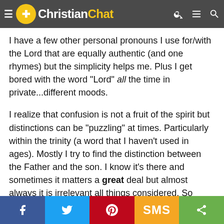ChristianChat
I have a few other personal pronouns I use for/with the Lord that are equally authentic (and one rhymes) but the simplicity helps me. Plus I get bored with the word "Lord" all the time in private...different moods.
I realize that confusion is not a fruit of the spirit but distinctions can be "puzzling" at times. Particularly within the trinity (a word that I haven't used in ages). Mostly I try to find the distinction between the Father and the son. I know it's there and sometimes it matters a great deal but almost always it is irrelevant all things considered. So yeah, it's something pretty simple but also pretty gentle the way that it eventually unpacked for me.
That perhaps is a better way to put it. Like how I've heard men say "that's females for ya" they are a "mystery" and something to ponder but not like "Nothing makes any sense! AOIHEKLJFLKJ!)#U)#$*)#(*!)...I'm scared I think I'm going to die!@#!" kind of confusion (which I think is what
f  [twitter]  [pinterest]  SMS  [share]